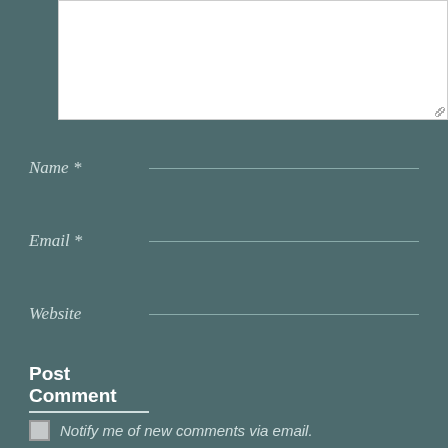[Figure (screenshot): White textarea input box with resize handle at bottom right corner]
Name *
Email *
Website
Post Comment
Notify me of new comments via email.